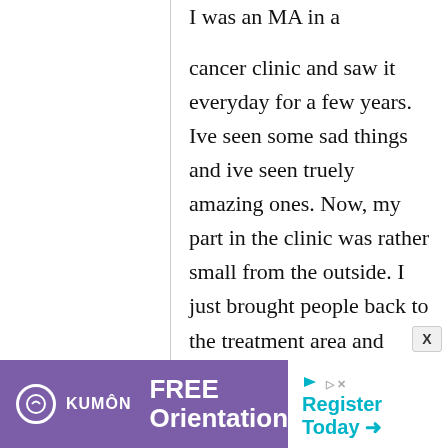I was an MA in a cancer clinic and saw it everyday for a few years. Ive seen some sad things and ive seen truely amazing ones. Now, my part in the clinic was rather small from the outside. I just brought people back to the treatment area and
[Figure (infographic): Kumon advertisement banner: purple background with Kumon logo, 'FREE Orientation' text in white, and 'Register Today' in teal with arrow on white background]